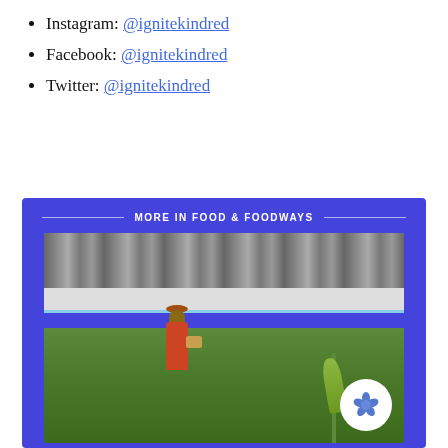Instagram: @ignitekindred
Facebook: @ignitekindred
Twitter: @ignitekindred
[Figure (photo): Blue promotional banner with 'MORE IN FOOD & FOODWAYS' header and a photo of a person wearing a red shirt and hat carrying a basket while walking through a farm field with greenhouses in the background and an okra plant in the foreground. A white circular badge with a flower icon appears in the bottom right corner.]